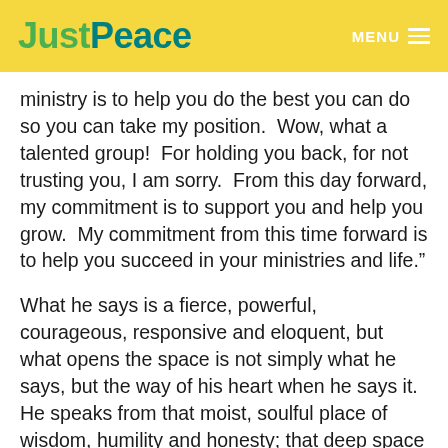JustPeace  MENU
ministry is to help you do the best you can do so you can take my position.  Wow, what a talented group!  For holding you back, for not trusting you, I am sorry.  From this day forward, my commitment is to support you and help you grow.  My commitment from this time forward is to help you succeed in your ministries and life.”
What he says is a fierce, powerful, courageous, responsive and eloquent, but what opens the space is not simply what he says, but the way of his heart when he says it.  He speaks from that moist, soulful place of wisdom, humility and honesty; that deep space where we brush quietly with eternity.  Deep calls to deep.  He was in an I-Thou place, and he invited others into that same way of being.  Responsiveness invites...